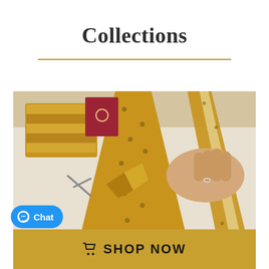Collections
[Figure (photo): Hands working on yellow floral patterned neckties/fabric, with scissors and sewing materials on a white surface]
Chat
SHOP NOW